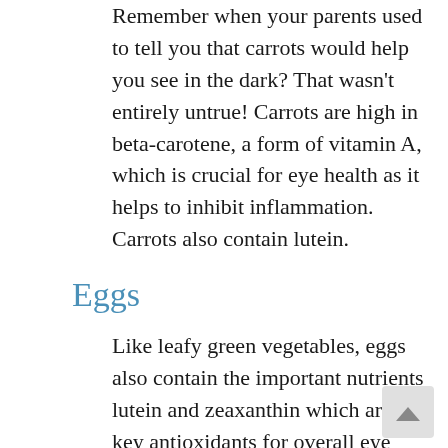Remember when your parents used to tell you that carrots would help you see in the dark? That wasn't entirely untrue! Carrots are high in beta-carotene, a form of vitamin A, which is crucial for eye health as it helps to inhibit inflammation. Carrots also contain lutein.
Eggs
Like leafy green vegetables, eggs also contain the important nutrients lutein and zeaxanthin which are key antioxidants for overall eye health. Omega-3 fatty acids can be found in eggs as well, which reduce the damage caused by high pressure on the eyes and prevent glaucoma. Eggs are also a